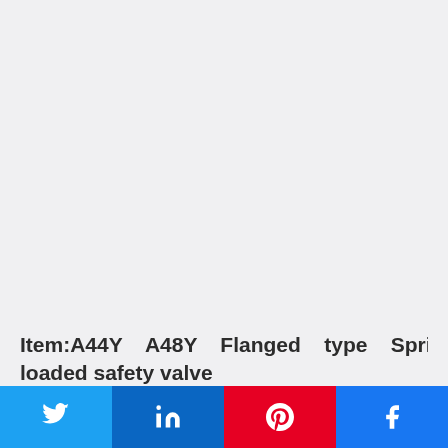[Figure (photo): Large empty light gray area filling the upper portion of the page, likely where a product image would appear.]
Item:A44Y    A48Y    Flanged    type    Spring loaded safety valve
[Figure (infographic): Social share bar with four buttons: Twitter (blue), LinkedIn (dark blue), Pinterest (red), Facebook (blue)]